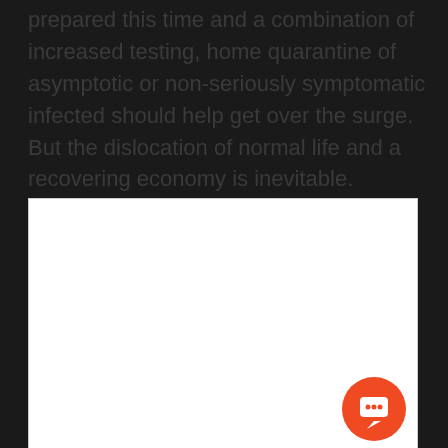prepared this time and a combination of increased testing, home quarantine of asymptotic or non-seriously symptomatic infected should help get over the surge. But the dislocation of normal life and a recovering economy is inevitable.
[Figure (other): A white empty box with a red chat/comment icon button in the lower right corner]